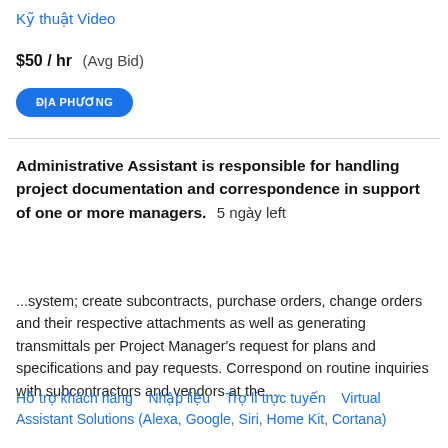Kỹ thuật Video
$50 / hr  (Avg Bid)
ĐỊA PHƯƠNG
Administrative Assistant is responsible for handling project documentation and correspondence in support of one or more managers.  5 ngày left
...system; create subcontracts, purchase orders, change orders and their respective attachments as well as generating transmittals per Project Manager's request for plans and specifications and pay requests. Correspond on routine inquiries with subcontractors and vendors at the...
Hỗ trợ khách hàng   Nhập liệu   Trợ lí trực tuyến   Virtual Assistant Solutions (Alexa, Google, Siri, Home Kit, Cortana)